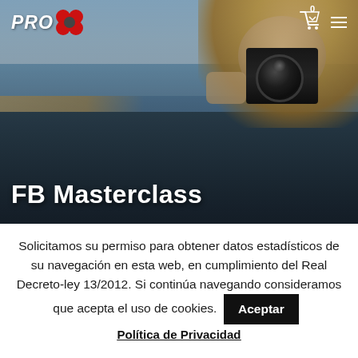[Figure (photo): Hero banner photo of a smiling blonde woman holding a Canon DSLR camera up to her face, wearing a blue top, with a beach and sea in the background. PRO8 logo in top left, cart icon and hamburger menu in top right.]
FB Masterclass
Solicitamos su permiso para obtener datos estadísticos de su navegación en esta web, en cumplimiento del Real Decreto-ley 13/2012. Si continúa navegando consideramos que acepta el uso de cookies.
Aceptar
Política de Privacidad